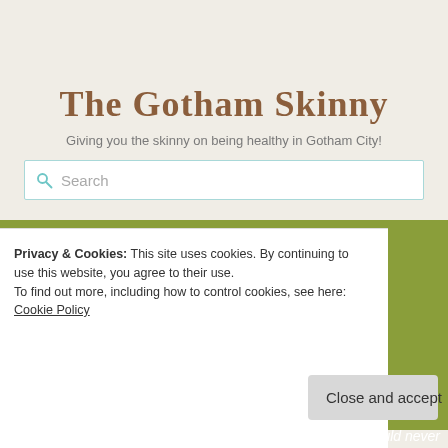The Gotham Skinny
Giving you the skinny on being healthy in Gotham City!
Search
HOME
ABOUT ME
ABOUT THIS BLOG
Privacy & Cookies: This site uses cookies. By continuing to use this website, you agree to their use.
To find out more, including how to control cookies, see here: Cookie Policy
Close and accept
would never